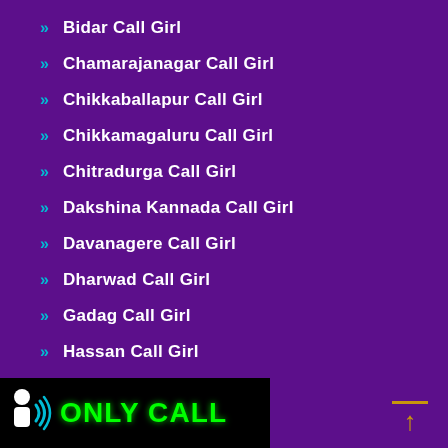Bidar Call Girl
Chamarajanagar Call Girl
Chikkaballapur Call Girl
Chikkamagaluru Call Girl
Chitradurga Call Girl
Dakshina Kannada Call Girl
Davanagere Call Girl
Dharwad Call Girl
Gadag Call Girl
Hassan Call Girl
Haveri Call Girl
Kalaburagi Call Girl
[Figure (logo): ONLY CALL banner with person icon on black background, green text]